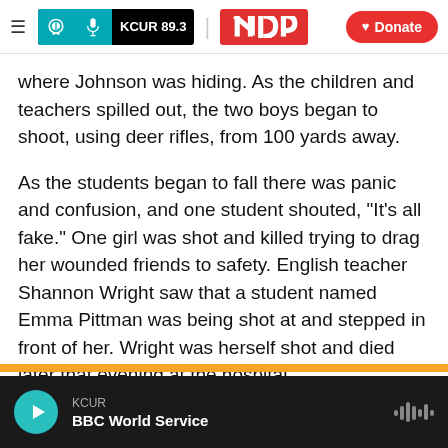KCUR 89.3 | npr | Donate
where Johnson was hiding. As the children and teachers spilled out, the two boys began to shoot, using deer rifles, from 100 yards away.
As the students began to fall there was panic and confusion, and one student shouted, "It's all fake." One girl was shot and killed trying to drag her wounded friends to safety. English teacher Shannon Wright saw that a student named Emma Pittman was being shot at and stepped in front of her. Wright was herself shot and died later that evening at the hospital.
KCUR | BBC World Service